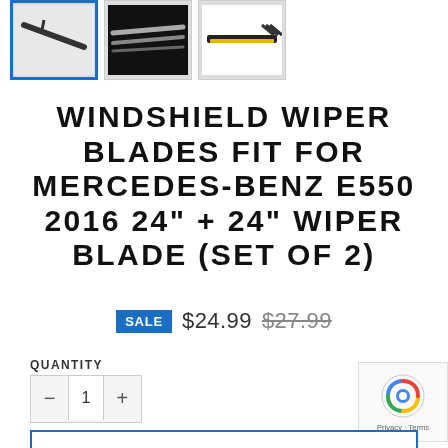[Figure (photo): Three product thumbnail images of windshield wiper blades. First thumbnail has a blue border (selected), second shows wiper blades on a dark background, third shows a wiper blade with yellow connector detail.]
WINDSHIELD WIPER BLADES FIT FOR MERCEDES-BENZ E550 2016 24" + 24" WIPER BLADE (SET OF 2)
SALE $24.99 $27.99
QUANTITY
− 1 +
ADD TO CART